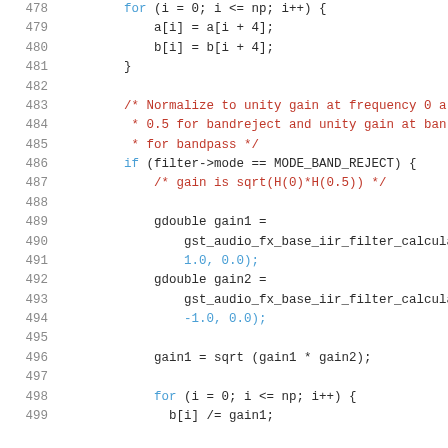Code listing lines 478–499 showing C source code for IIR filter gain normalization
478: for (i = 0; i <= np; i++) {
479:     a[i] = a[i + 4];
480:     b[i] = b[i + 4];
481: }
482: (blank)
483: /* Normalize to unity gain at frequency 0 a
484:  * 0.5 for bandreject and unity gain at ban
485:  * for bandpass */
486: if (filter->mode == MODE_BAND_REJECT) {
487:     /* gain is sqrt(H(0)*H(0.5)) */
488: (blank)
489:     gdouble gain1 =
490:         gst_audio_fx_base_iir_filter_calculat
491:         1.0, 0.0);
492:     gdouble gain2 =
493:         gst_audio_fx_base_iir_filter_calculat
494:         -1.0, 0.0);
495: (blank)
496:     gain1 = sqrt (gain1 * gain2);
497: (blank)
498:     for (i = 0; i <= np; i++) {
499:       b[i] /= gain1;